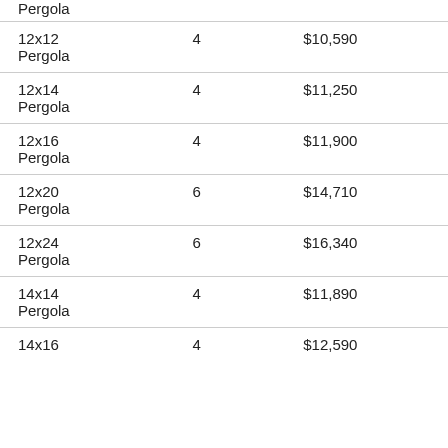| Size | Posts | Price |
| --- | --- | --- |
| 12x12 Pergola | 4 | $10,590 |
| 12x14 Pergola | 4 | $11,250 |
| 12x16 Pergola | 4 | $11,900 |
| 12x20 Pergola | 6 | $14,710 |
| 12x24 Pergola | 6 | $16,340 |
| 14x14 Pergola | 4 | $11,890 |
| 14x16 Pergola | 4 | $12,590 |